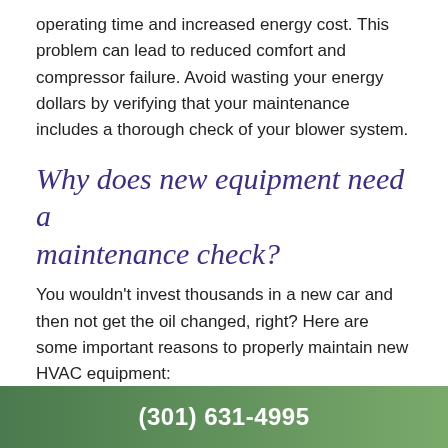operating time and increased energy cost. This problem can lead to reduced comfort and compressor failure. Avoid wasting your energy dollars by verifying that your maintenance includes a thorough check of your blower system.
Why does new equipment need a maintenance check?
You wouldn't invest thousands in a new car and then not get the oil changed, right? Here are some important reasons to properly maintain new HVAC equipment:
A refrigerant undercharge of only 10% can increase operating costs by almost 20%.
(301) 631-4995